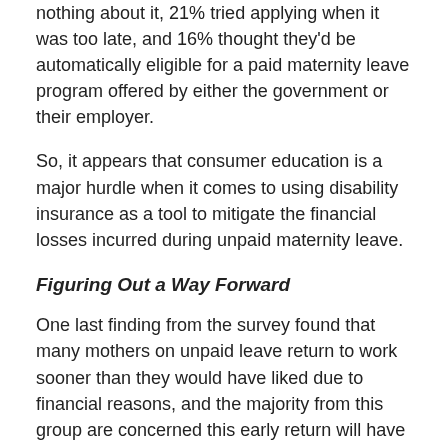nothing about it, 21% tried applying when it was too late, and 16% thought they'd be automatically eligible for a paid maternity leave program offered by either the government or their employer.
So, it appears that consumer education is a major hurdle when it comes to using disability insurance as a tool to mitigate the financial losses incurred during unpaid maternity leave.
Figuring Out a Way Forward
One last finding from the survey found that many mothers on unpaid leave return to work sooner than they would have liked due to financial reasons, and the majority from this group are concerned this early return will have a negative impact on their children's development.
Not only are their financial ramifications of unpaid maternity leave, but social ones as well.
So, how does the US move forward in developing a